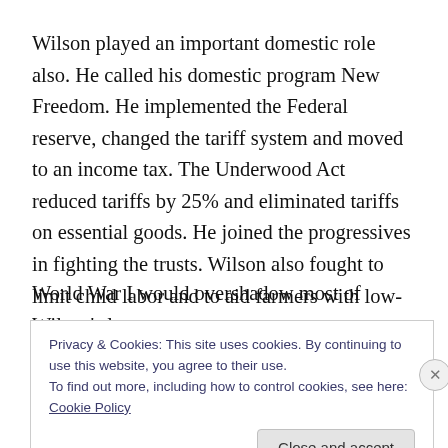Wilson played an important domestic role also. He called his domestic program New Freedom. He implemented the Federal reserve, changed the tariff system and moved to an income tax. The Underwood Act reduced tariffs by 25% and eliminated tariffs on essential goods. He joined the progressives in fighting the trusts. Wilson also fought to limit child labor and to aid farmers with low-cost loans.
World War I would overshadow most of Wilson's legacy.
Privacy & Cookies: This site uses cookies. By continuing to use this website, you agree to their use.
To find out more, including how to control cookies, see here: Cookie Policy

Close and accept